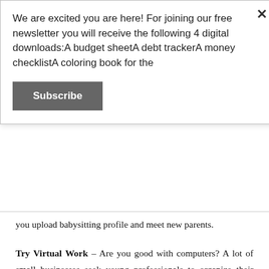We are excited you are here! For joining our free newsletter you will receive the following 4 digital downloads:A budget sheetA debt trackerA money checklistA coloring book for the
Subscribe
you upload babysitting profile and meet new parents.
Try Virtual Work – Are you good with computers? A lot of small businesses seek young professionals to organize their files, send emails and create excel reports. Use the computer skills you learned in school to make some well earned cash.
Get Ready for The Job Interview – Practice makes perfect. Don't wait until you get the interview to do a trial